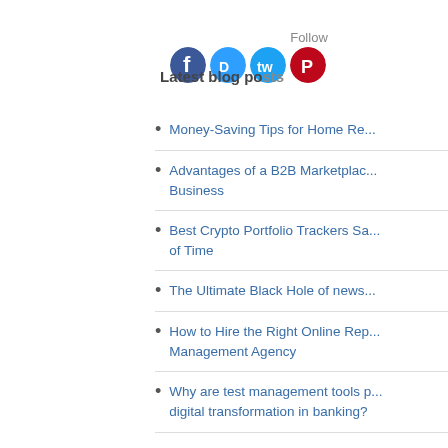Latest blog posts
[Figure (infographic): Follow social media icons: Facebook, Disqus, Twitter, Pinterest]
Money-Saving Tips for Home Re...
Advantages of a B2B Marketplac... Business
Best Crypto Portfolio Trackers Sa... of Time
The Ultimate Black Hole of news...
How to Hire the Right Online Rep... Management Agency
Why are test management tools p... digital transformation in banking?
Best Crypto Exchanges
5 Recommended paraphrasing to... android users
Secrets that our phones hide from... codes that tell everything about o...